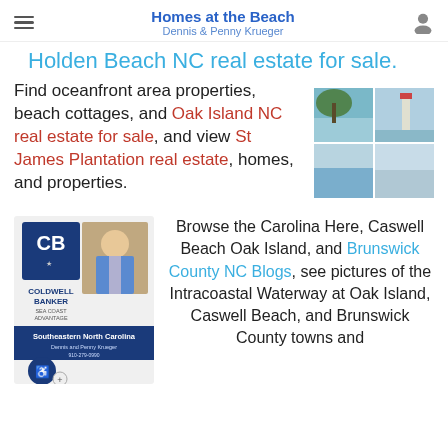Homes at the Beach
Dennis & Penny Krueger
Holden Beach NC real estate for sale.
Find oceanfront area properties, beach cottages, and Oak Island NC real estate for sale, and view St James Plantation real estate, homes, and properties.
[Figure (photo): Collage of four coastal/beach photos showing water, sky, and a lighthouse]
[Figure (photo): Coldwell Banker Sea Coast Advantage advertisement featuring Dennis and Penny Krueger with contact info for Southeastern North Carolina]
Browse the Carolina Here, Caswell Beach Oak Island, and Brunswick County NC Blogs, see pictures of the Intracoastal Waterway at Oak Island, Caswell Beach, and Brunswick County towns and